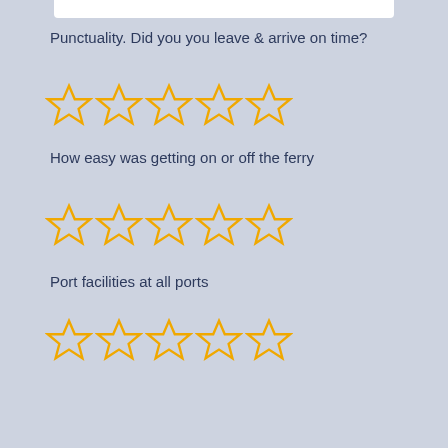Punctuality. Did you you leave & arrive on time?
[Figure (other): 5 empty star rating icons in gold/yellow color]
How easy was getting on or off the ferry
[Figure (other): 5 empty star rating icons in gold/yellow color]
Port facilities at all ports
[Figure (other): 5 empty star rating icons in gold/yellow color]
Safety: How safe did you feel on your journey?
[Figure (other): 5 empty star rating icons in gold/yellow color]